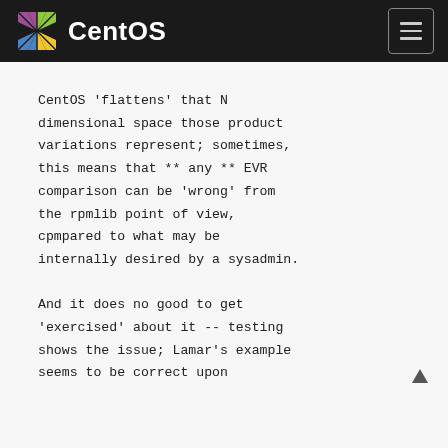CentOS
CentOS 'flattens' that N dimensional space those product variations represent; sometimes, this means that ** any ** EVR comparison can be 'wrong' from the rpmlib point of view, cpmpared to what may be internally desired by a sysadmin.

And it does no good to get 'exercised' about it -- testing shows the issue; Lamar's example seems to be correct upon